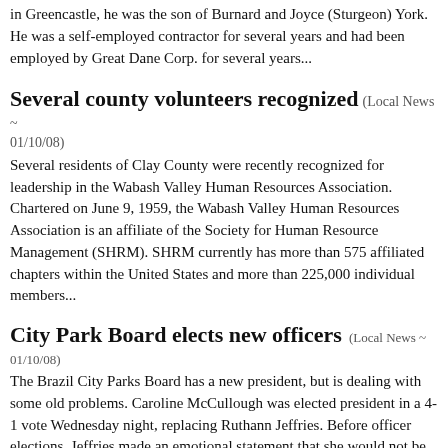in Greencastle, he was the son of Burnard and Joyce (Sturgeon) York. He was a self-employed contractor for several years and had been employed by Great Dane Corp. for several years...
Several county volunteers recognized (Local News ~ 01/10/08)
Several residents of Clay County were recently recognized for leadership in the Wabash Valley Human Resources Association. Chartered on June 9, 1959, the Wabash Valley Human Resources Association is an affiliate of the Society for Human Resource Management (SHRM). SHRM currently has more than 575 affiliated chapters within the United States and more than 225,000 individual members...
City Park Board elects new officers (Local News ~ 01/10/08)
The Brazil City Parks Board has a new president, but is dealing with some old problems. Caroline McCullough was elected president in a 4-1 vote Wednesday night, replacing Ruthann Jeffries. Before officer elections, Jeffries made an emotional statement that she would not be able to fulfill presidential duties in 2008 because of personal issues...
'FUN'damental reading! (Local News ~ 01/10/08)
[Figure (photo): Photo showing a person holding books or materials in what appears to be a classroom or library setting with colorful posters in background]